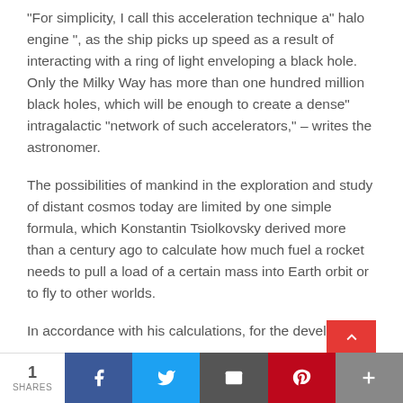“For simplicity, I call this acceleration technique a” halo engine “, as the ship picks up speed as a result of interacting with a ring of light enveloping a black hole. Only the Milky Way has more than one hundred million black holes, which will be enough to create a dense” intragalactic “network of such accelerators,” – writes the astronomer.
The possibilities of mankind in the exploration and study of distant cosmos today are limited by one simple formula, which Konstantin Tsiolkovsky derived more than a century ago to calculate how much fuel a rocket needs to pull a load of a certain mass into Earth orbit or to fly to other worlds.
In accordance with his calculations, for the developme…
1 SHARES | Facebook | Twitter | Email | Pinterest | +